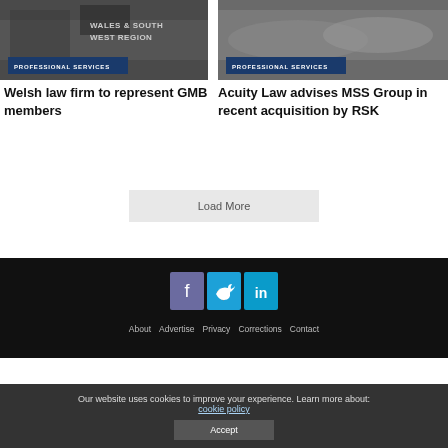[Figure (photo): Photo of people in front of a 'Wales & South West Region' sign with a 'Professional Services' badge overlay]
PROFESSIONAL SERVICES
Welsh law firm to represent GMB members
[Figure (photo): Photo of industrial tanks/cylinders with a 'Professional Services' badge overlay]
PROFESSIONAL SERVICES
Acuity Law advises MSS Group in recent acquisition by RSK
Load More
[Figure (infographic): Footer social media icons: Facebook (purple), Twitter (blue), LinkedIn (blue)]
About   Advertise   Privacy   Corrections   Contact
Our website uses cookies to improve your experience. Learn more about: cookie policy
Accept